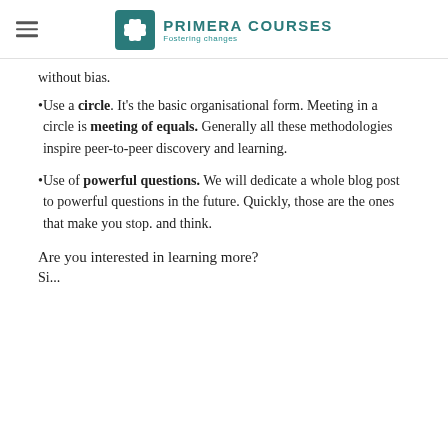PRIMERA COURSES — Fostering changes
without bias.
Use a circle. It's the basic organisational form. Meeting in a circle is meeting of equals. Generally all these methodologies inspire peer-to-peer discovery and learning.
Use of powerful questions. We will dedicate a whole blog post to powerful questions in the future. Quickly, those are the ones that make you stop. and think.
Are you interested in learning more?
Si...